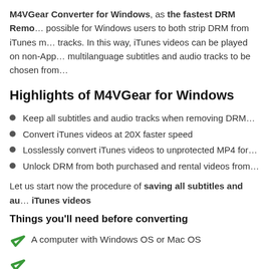M4VGear Converter for Windows, as the fastest DRM Removal possible for Windows users to both strip DRM from iTunes tracks. In this way, iTunes videos can be played on non-Apple multilanguage subtitles and audio tracks to be chosen from
Highlights of M4VGear for Windows
Keep all subtitles and audio tracks when removing DRM
Convert iTunes videos at 20X faster speed
Losslessly convert iTunes videos to unprotected MP4 for
Unlock DRM from both purchased and rental videos from
Let us start now the procedure of saving all subtitles and audio tracks iTunes videos
Things you'll need before converting
A computer with Windows OS or Mac OS